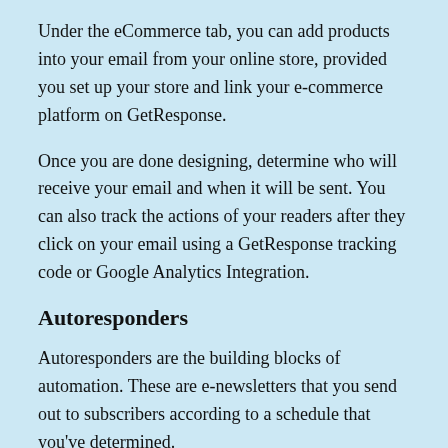Under the eCommerce tab, you can add products into your email from your online store, provided you set up your store and link your e-commerce platform on GetResponse.
Once you are done designing, determine who will receive your email and when it will be sent. You can also track the actions of your readers after they click on your email using a GetResponse tracking code or Google Analytics Integration.
Autoresponders
Autoresponders are the building blocks of automation. These are e-newsletters that you send out to subscribers according to a schedule that you've determined.
You can set up autoresponders to send either time-based or action-based messages. You can send time-based messages by setting time intervals. You can simply set a schedule, and